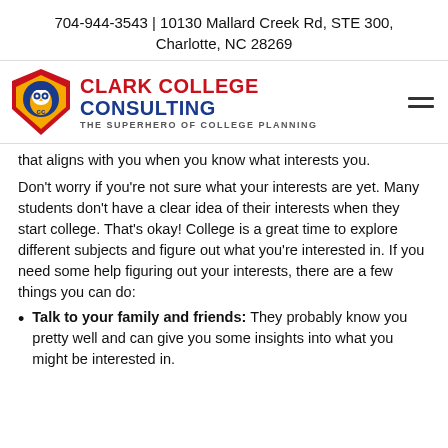704-944-3543 | 10130 Mallard Creek Rd, STE 300, Charlotte, NC 28269
[Figure (logo): Clark College Consulting logo — superhero shield with owl, red and gold colors, text: CLARK COLLEGE CONSULTING / THE SUPERHERO OF COLLEGE PLANNING]
that aligns with you when you know what interests you.
Don't worry if you're not sure what your interests are yet. Many students don't have a clear idea of their interests when they start college. That's okay! College is a great time to explore different subjects and figure out what you're interested in. If you need some help figuring out your interests, there are a few things you can do:
Talk to your family and friends: They probably know you pretty well and can give you some insights into what you might be interested in.